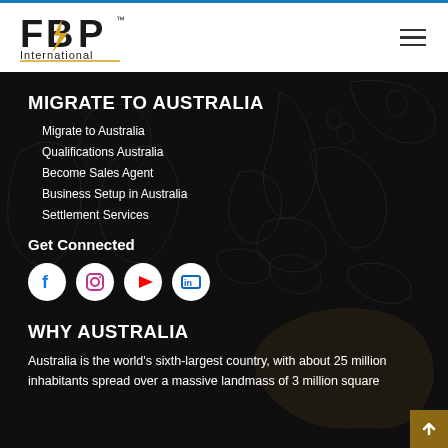FBP International logo and navigation menu
MIGRATE TO AUSTRALIA
Migrate to Australia
Qualifications Australia
Become Sales Agent
Business Setup in Australia
Settlement Services
Get Connected
[Figure (infographic): Social media icons: Facebook, Instagram, YouTube, LinkedIn]
WHY AUSTRALIA
Australia is the world's sixth-largest country, with about 25 million inhabitants spread over a massive landmass of 3 million square